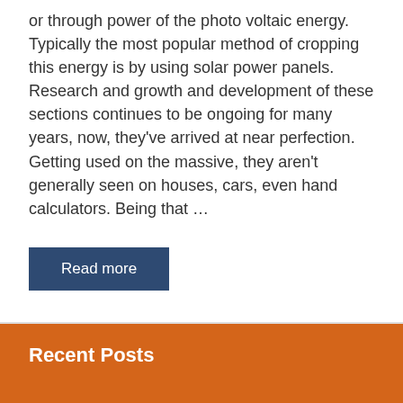or through power of the photo voltaic energy. Typically the most popular method of cropping this energy is by using solar power panels. Research and growth and development of these sections continues to be ongoing for many years, now, they've arrived at near perfection. Getting used on the massive, they aren't generally seen on houses, cars, even hand calculators. Being that …
Read more
Recent Posts